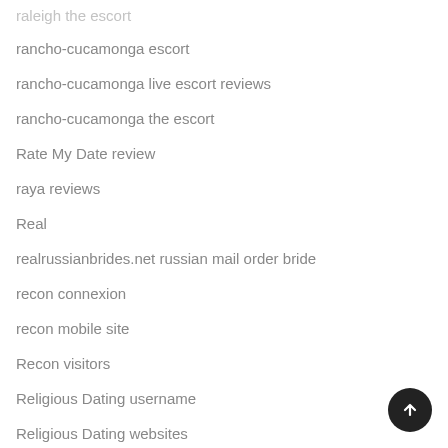raleigh the escort
rancho-cucamonga escort
rancho-cucamonga live escort reviews
rancho-cucamonga the escort
Rate My Date review
raya reviews
Real
realrussianbrides.net russian mail order bride
recon connexion
recon mobile site
Recon visitors
Religious Dating username
Religious Dating websites
rencontres-athee connexion